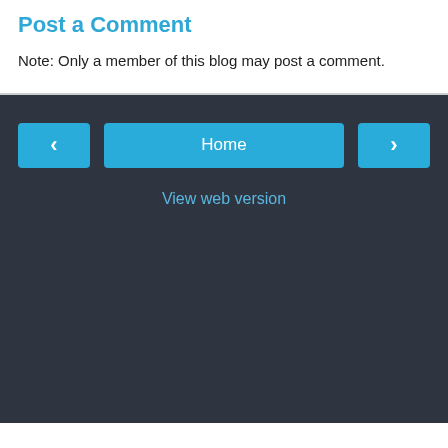Post a Comment
Note: Only a member of this blog may post a comment.
‹  Home  ›  View web version